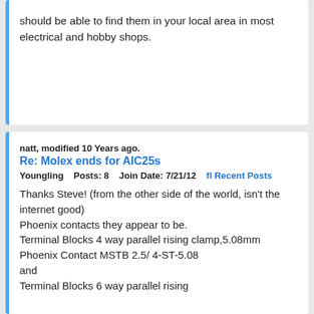should be able to find them in your local area in most electrical and hobby shops.
natt, modified 10 Years ago.
Re: Molex ends for AIC25s
Youngling    Posts: 8    Join Date: 7/21/12    fl Recent Posts
Thanks Steve! (from the other side of the world, isn't the internet good)
Phoenix contacts they appear to be.
Terminal Blocks 4 way parallel rising clamp,5.08mm Phoenix Contact MSTB 2.5/ 4-ST-5.08
and
Terminal Blocks 6 way parallel rising